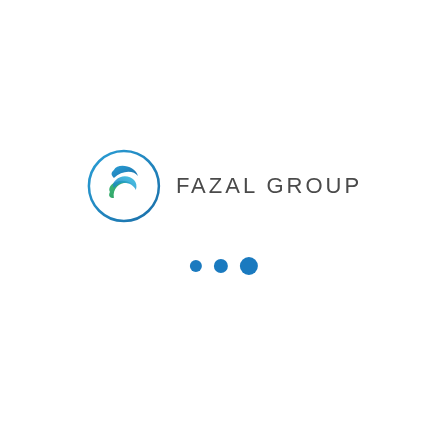[Figure (logo): Fazal Group logo: circular swoosh icon with blue and green gradient leaves on the left, and the text 'FAZAL GROUP' in spaced grey capitals on the right. Below the logo are three blue dots of increasing size arranged horizontally.]